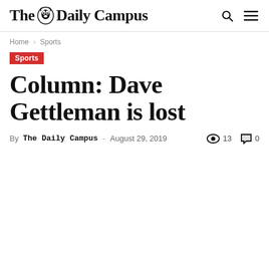The Daily Campus
Home › Sports
Sports
Column: Dave Gettleman is lost
By The Daily Campus - August 29, 2019  👁 13  💬 0